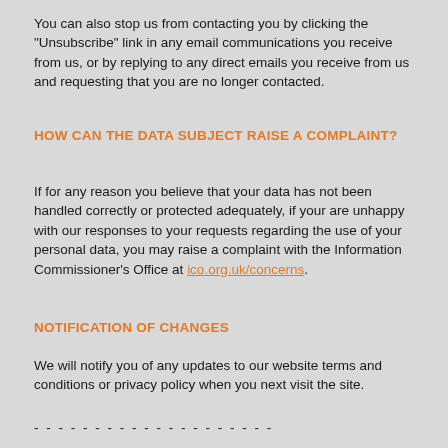You can also stop us from contacting you by clicking the "Unsubscribe" link in any email communications you receive from us, or by replying to any direct emails you receive from us and requesting that you are no longer contacted.
HOW CAN THE DATA SUBJECT RAISE A COMPLAINT?
If for any reason you believe that your data has not been handled correctly or protected adequately, if your are unhappy with our responses to your requests regarding the use of your personal data, you may raise a complaint with the Information Commissioner's Office at ico.org.uk/concerns.
NOTIFICATION OF CHANGES
We will notify you of any updates to our website terms and conditions or privacy policy when you next visit the site.
- - - - - - - - - - - - - - - - - - - -